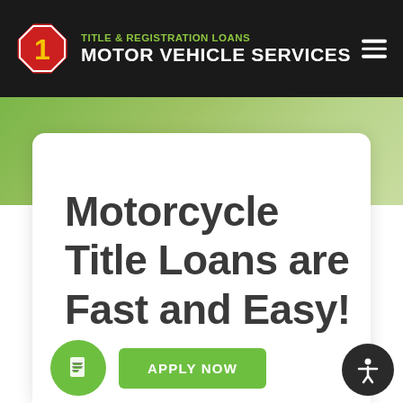[Figure (logo): 1 Stop Motor Vehicle Services logo: red stop sign with '1' and yellow text 'TITLE & REGISTRATION LOANS' above 'MOTOR VEHICLE SERVICES' in white on dark background header]
Motorcycle Title Loans are Fast and Easy!
[Figure (other): Green rounded button with 'APPLY NOW' text and a green circle with document icon]
[Figure (other): Dark circle accessibility icon at bottom right]